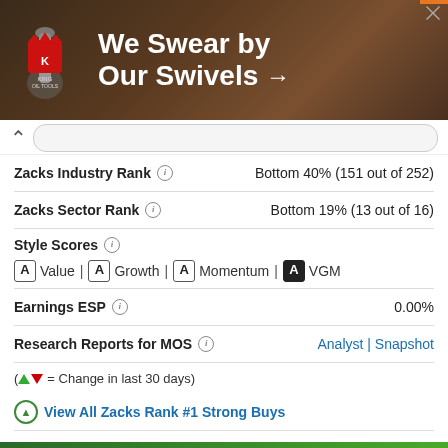[Figure (screenshot): King Oil Tools advertisement banner: 'We Swear by Our Swivels →' with logo on dark brown background]
Zacks Industry Rank   Bottom 40% (151 out of 252)
Zacks Sector Rank   Bottom 19% (13 out of 16)
Style Scores
A Value | A Growth | A Momentum | A VGM
Earnings ESP   0.00%
Research Reports for MOS   Analyst | Snapshot
(▲ ▼ = Change in last 30 days)
View All Zacks Rank #1 Strong Buys
More Premium Research »